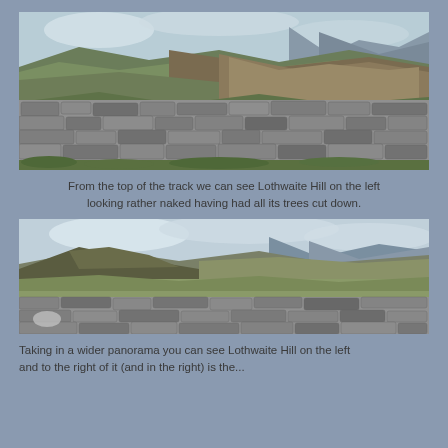[Figure (photo): Photograph of a dry stone wall in the foreground with rolling hills, green fields, and mountains visible in the background under an overcast sky. The stone wall is made of grey irregular stacked stones.]
From the top of the track we can see Lothwaite Hill on the left looking rather naked having had all its trees cut down.
[Figure (photo): Photograph of a wider panoramic view showing Lothwaite Hill on the left side, with rolling grassy hills and mountains in the background, and a dry stone wall at the bottom of the frame.]
Taking in a wider panorama you can see Lothwaite Hill on the left and to the right of it (and in the right) is the...